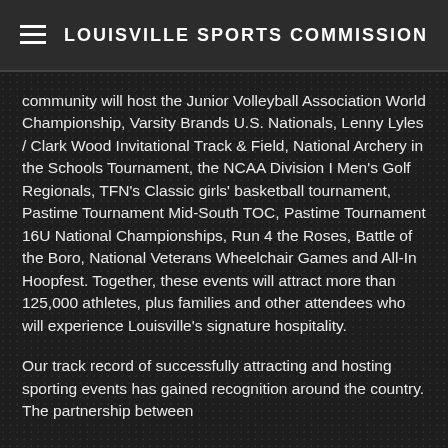☰ LOUISVILLE SPORTS COMMISSION
community will host the Junior Volleyball Association World Championship, Varsity Brands U.S. Nationals, Lenny Lyles / Clark Wood Invitational Track & Field, National Archery in the Schools Tournament, the NCAA Division I Men's Golf Regionals, TFN's Classic girls' basketball tournament, Pastime Tournament Mid-South TOC, Pastime Tournament 16U National Championships, Run 4 the Roses, Battle of the Boro, National Veterans Wheelchair Games and All-In Hoopfest. Together, these events will attract more than 125,000 athletes, plus families and other attendees who will experience Louisville's signature hospitality.
Our track record of successfully attracting and hosting sporting events has gained recognition around the country. The partnership between